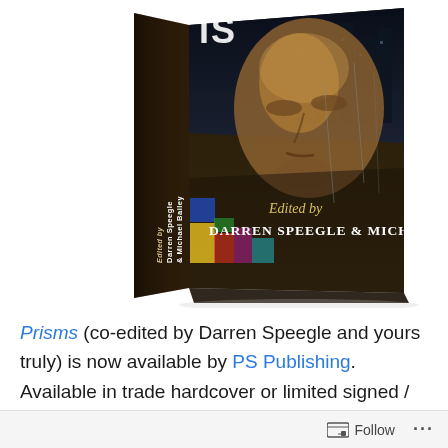[Figure (photo): A 3D rendered book cover showing 'Prisms' edited by Darren Speegle & Michael Bailey. The book has a dark, urban atmosphere with a child's face looking upward, city buildings in the background. The spine shows the editors' names vertically. The front cover text reads 'Edited by Darren Speegle & Michael Bailey'.]
Prisms (co-edited by Darren Speegle and yours truly) is now available by PS Publishing. Available in trade hardcover or limited signed / numbered hardback (only
Follow ...